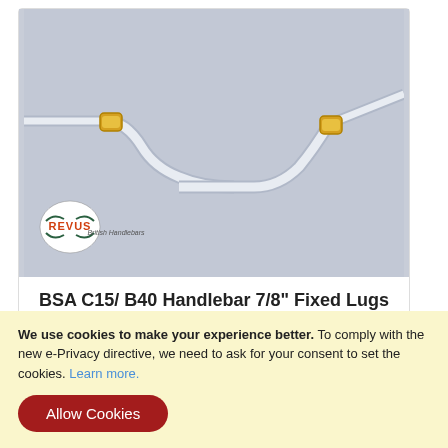[Figure (photo): Chrome motorcycle handlebar (BSA C15/B40 style) with fixed lugs, photographed against a light grey-blue background. REVUS British Handlebars logo visible in bottom left of photo.]
BSA C15/ B40 Handlebar 7/8" Fixed Lugs
£32.00
We use cookies to make your experience better. To comply with the new e-Privacy directive, we need to ask for your consent to set the cookies. Learn more.
Allow Cookies